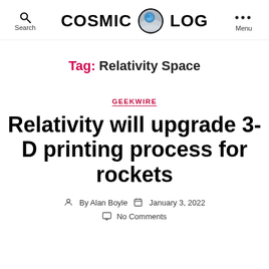COSMIC LOG
Tag: Relativity Space
GEEKWIRE
Relativity will upgrade 3-D printing process for rockets
By Alan Boyle  January 3, 2022
No Comments